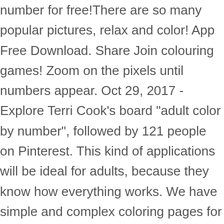number for free!There are so many popular pictures, relax and color! App Free Download. Share Join colouring games! Zoom on the pixels until numbers appear. Oct 29, 2017 - Explore Terri Cook's board "adult color by number", followed by 121 people on Pinterest. This kind of applications will be ideal for adults, because they know how everything works. We have simple and complex coloring pages for adults. Download and print these Free Printable Paint By Numbers For Adults coloring pages for free. Colour Therapy offers just that. Coloring by numbers for adults, this is a relaxing … Super Coloring also has a feature that not many other adult coloring websites have: you don't even need to print the pictures in order to color them. Indeed, coloring books are selling well in the adult market. Also see my other folders: Winter Color by Number; Winter Coloring